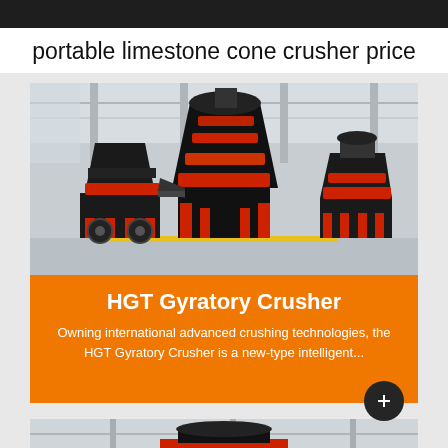portable limestone cone crusher price
[Figure (photo): Three large HGT Gyratory Crushers in black and red displayed in an industrial warehouse/factory setting. The machines have distinctive cone shapes with red accent rings and black bodies, mounted on steel frames with yellow floor markings visible.]
HGT Gyratory Crusher
Owning international advanced crushing technologies, the HGT Gyratory Crusher is a new-type intelligent...
[Figure (photo): Partial view of another industrial crusher machine in a factory/warehouse setting, showing the top portion of the machine with industrial ceiling visible.]